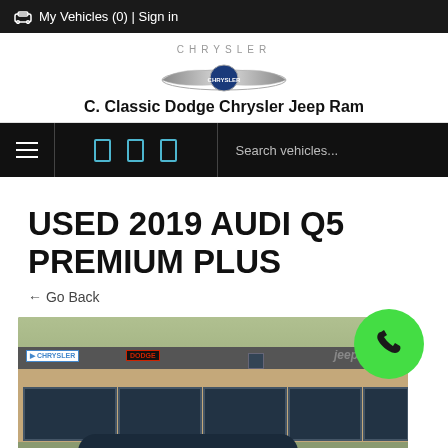🚗 My Vehicles (0) | Sign in
[Figure (logo): Chrysler wings logo with CHRYSLER text above]
C. Classic Dodge Chrysler Jeep Ram
[Figure (screenshot): Navigation bar with hamburger menu, social icon boxes, and Search vehicles... text field]
USED 2019 AUDI Q5 PREMIUM PLUS
← Go Back
[Figure (photo): Exterior of C. Classic Dodge Chrysler Jeep Ram dealership showing Chrysler, Dodge, and Jeep signage on building facade with a dark vehicle in foreground. Green phone call button overlaid on right side.]